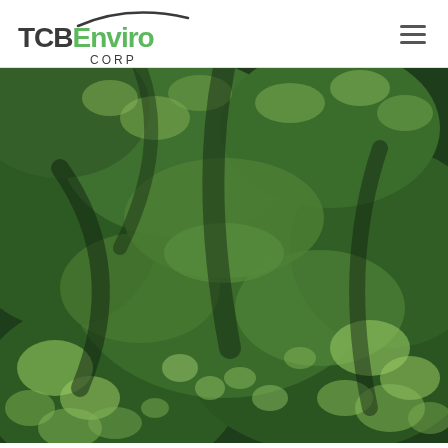[Figure (logo): TCBEnviro Corp logo with arc swoosh above the text, 'TCB' in dark gray bold, 'Enviro' in green bold, 'CORP' in small tracking caps below]
[Figure (photo): Aerial photograph of lush green rolling forested hills with mixed dark and light green canopy textures, viewed from above]